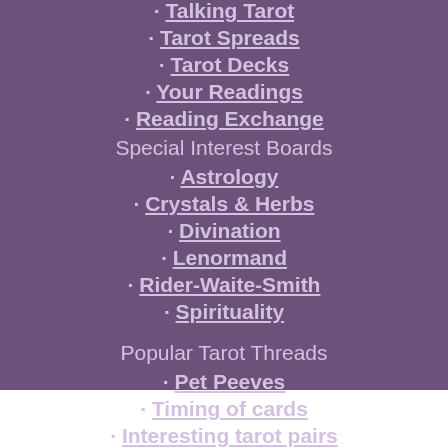· Talking Tarot
· Tarot Spreads
· Tarot Decks
· Your Readings
· Reading Exchange
Special Interest Boards
· Astrology
· Crystals & Herbs
· Divination
· Lenormand
· Rider-Waite-Smith
· Spirituality
Popular Tarot Threads
· Pet Peeves
· Timing of cards
· Interesting tarot pairs